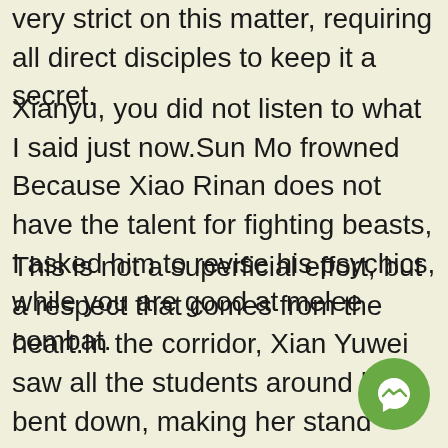very strict on this matter, requiring all direct disciples to keep it a secret.
Xianyu, you did not listen to what I said just now.Sun Mo frowned Because Xiao Rinan does not have the talent for fighting beasts, I asked him to revise his psychics, while you are good at melee combat.
This is not a superficial effort, but a respect that comes from the heart.In the corridor, Xian Yuwei saw all the students around her bent down, making her stand out.She was at a loss when she suddenly felt several big hands on her back pressing her head.And waist, bent down.What are you daydreaming about Is it disrespectful to the teacher, do you need to clean up Do you have any complaints about the teacher I think Male Enhancement Pills Ingredients virility test male enhancement pills need to talk The surrounding students frowned and reprimanded Xian Yuwei.